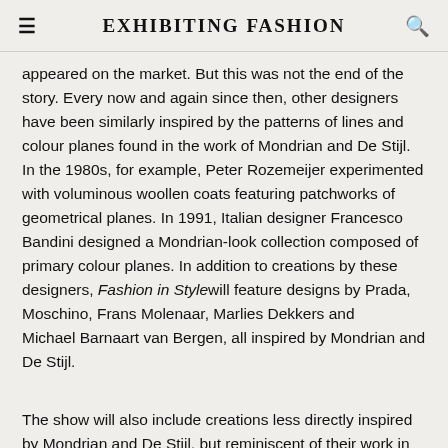EXHIBITING FASHION
appeared on the market. But this was not the end of the story. Every now and again since then, other designers have been similarly inspired by the patterns of lines and colour planes found in the work of Mondrian and De Stijl. In the 1980s, for example, Peter Rozemeijer experimented with voluminous woollen coats featuring patchworks of geometrical planes. In 1991, Italian designer Francesco Bandini designed a Mondrian-look collection composed of primary colour planes. In addition to creations by these designers, Fashion in Style will feature designs by Prada, Moschino, Frans Molenaar, Marlies Dekkers and Michael Barnaart van Bergen, all inspired by Mondrian and De Stijl.
The show will also include creations less directly inspired by Mondrian and De Stijl, but reminiscent of their work in terms of colour and the use of large planes. They will include pieces by designers like Maison The Faux and Liselore Frowijn, Dewi Bekker, Gino Anthonisse and Christa van der Meer. The last three of these, together with Anouk van Klaveren, make up the Das Leben am Haverkamp design